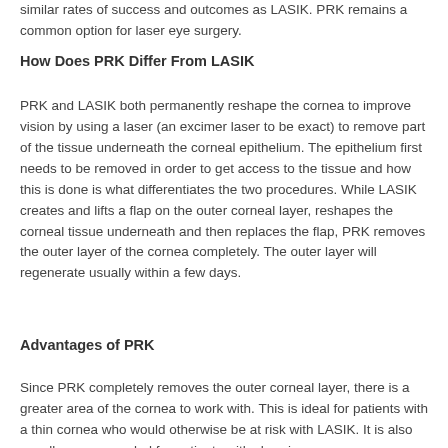similar rates of success and outcomes as LASIK. PRK remains a common option for laser eye surgery.
How Does PRK Differ From LASIK
PRK and LASIK both permanently reshape the cornea to improve vision by using a laser (an excimer laser to be exact) to remove part of the tissue underneath the corneal epithelium. The epithelium first needs to be removed in order to get access to the tissue and how this is done is what differentiates the two procedures. While LASIK creates and lifts a flap on the outer corneal layer, reshapes the corneal tissue underneath and then replaces the flap, PRK removes the outer layer of the cornea completely. The outer layer will regenerate usually within a few days.
Advantages of PRK
Since PRK completely removes the outer corneal layer, there is a greater area of the cornea to work with. This is ideal for patients with a thin cornea who would otherwise be at risk with LASIK. It is also usually recommended for patients with chronic